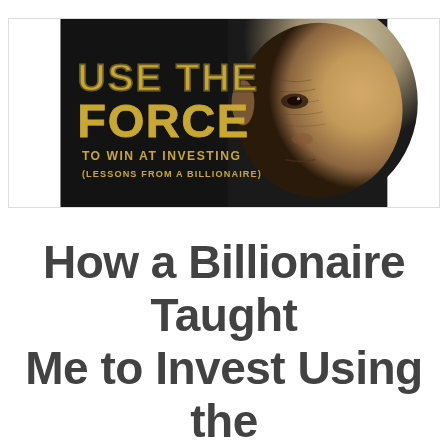[Figure (illustration): A dark background image showing a Yoda-like creature's face on the right half, with large golden outlined text on the left reading 'USE THE FORCE', below it 'TO WIN AT INVESTING', and below that '(LESSONS FROM A BILLIONAIRE)']
How a Billionaire Taught Me to Invest Using the